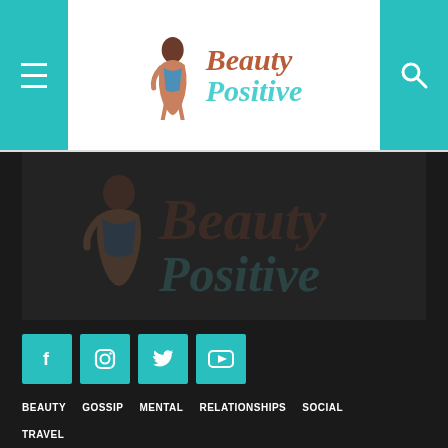Beauty Positive - navigation header with menu and search buttons
[Figure (logo): Beauty Positive logo watermark on dark background banner]
[Figure (infographic): Social media icon buttons: Facebook, Instagram, Twitter, YouTube in teal/cyan color]
BEAUTY   GOSSIP   MENTAL   RELATIONSHIPS   SOCIAL
TRAVEL